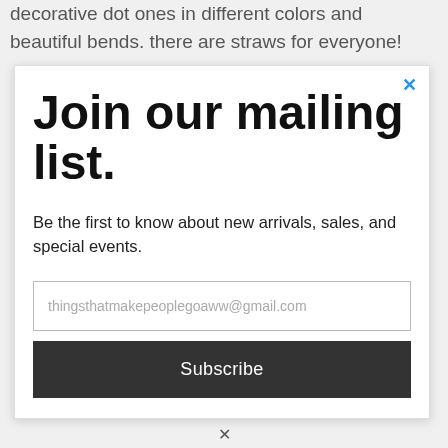decorative dot ones in different colors and beautiful bends. there are straws for everyone!
Join our mailing list.
Be the first to know about new arrivals, sales, and special events.
thingsthatmakepeoplegoaww@gmail.com
Subscribe